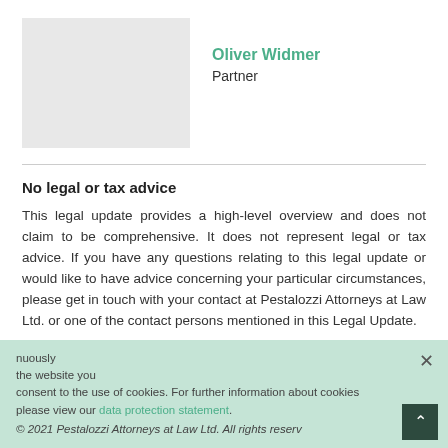[Figure (photo): Gray placeholder rectangle for Oliver Widmer profile photo]
Oliver Widmer
Partner
No legal or tax advice
This legal update provides a high-level overview and does not claim to be comprehensive. It does not represent legal or tax advice. If you have any questions relating to this legal update or would like to have advice concerning your particular circumstances, please get in touch with your contact at Pestalozzi Attorneys at Law Ltd. or one of the contact persons mentioned in this Legal Update.
© 2021 Pestalozzi Attorneys at Law Ltd. All rights reserved.
consent to the use of cookies. For further information about cookies please view our data protection statement.